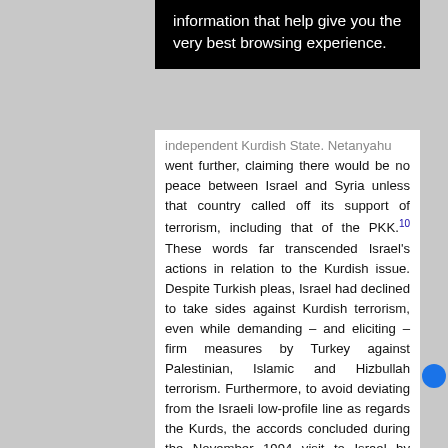information that help give you the very best browsing experience.
independent Kurdish State. Netanyahu went further, claiming there would be no peace between Israel and Syria unless that country called off its support of terrorism, including that of the PKK.10 These words far transcended Israel's actions in relation to the Kurdish issue. Despite Turkish pleas, Israel had declined to take sides against Kurdish terrorism, even while demanding – and eliciting – firm measures by Turkey against Palestinian, Islamic and Hizbullah terrorism. Furthermore, to avoid deviating from the Israeli low-profile line as regards the Kurds, the accords concluded during the November 1994 visit to Israel by Turkey's Prime Minister, Tansu Ciller, relegated mutual anti-terror efforts to the